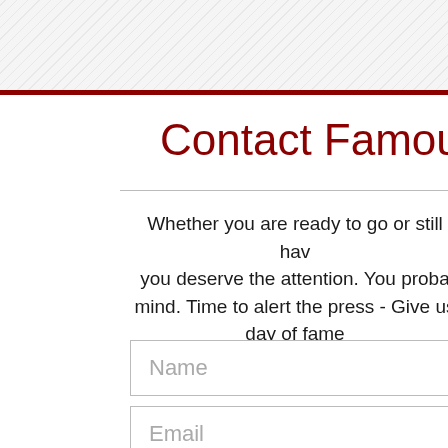Contact Famous
Whether you are ready to go or still have you deserve the attention. You proba mind. Time to alert the press - Give us day of fame
Name
Email